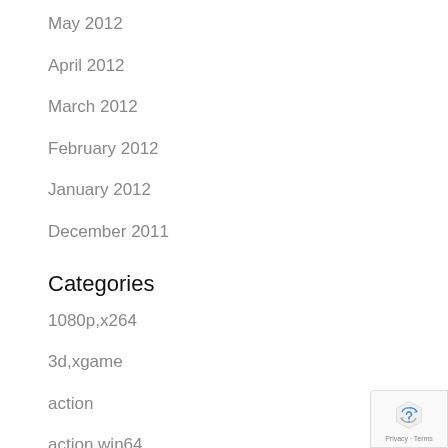May 2012
April 2012
March 2012
February 2012
January 2012
December 2011
Categories
1080p,x264
3d,xgame
action
action,win64
avi
avi,top